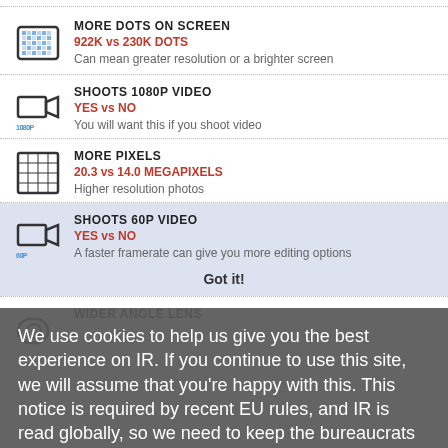MORE DOTS ON SCREEN
922K vs 230K DOTS
Can mean greater resolution or a brighter screen
SHOOTS 1080P VIDEO
YES vs NO
You will want this if you shoot video
We use cookies to help us give you the best experience on IR. If you continue to use this site, we will assume that you're happy with this. This notice is required by recent EU rules, and IR is read globally, so we need to keep the bureaucrats off our case!
Learn more
MORE PIXELS
20.3 vs 14.0 MEGAPIXELS
Higher resolution photos
SHOOTS 60P VIDEO
YES vs NO
A faster framerate can give you more editing options
Got it!
WIDER ANGLE LENS